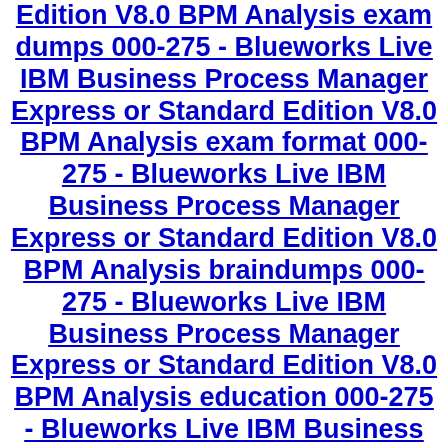Edition V8.0 BPM Analysis exam dumps 000-275 - Blueworks Live IBM Business Process Manager Express or Standard Edition V8.0 BPM Analysis exam format 000-275 - Blueworks Live IBM Business Process Manager Express or Standard Edition V8.0 BPM Analysis braindumps 000-275 - Blueworks Live IBM Business Process Manager Express or Standard Edition V8.0 BPM Analysis education 000-275 - Blueworks Live IBM Business Process Manager Express or Standard Edition V8.0 BPM Analysis exam dumps 000-275 - Blueworks Live IBM Business Process Manager Express or Standard Edition V8.0 BPM Analysis braindumps 000-275 - Blueworks Live IBM Business